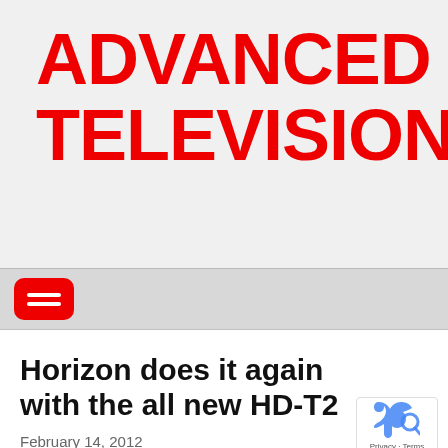ADVANCED TELEVISION
[Figure (logo): Navigation menu hamburger icon button (red rounded rectangle with three white horizontal lines)]
Horizon does it again with the all new HD-T2
February 14, 2012